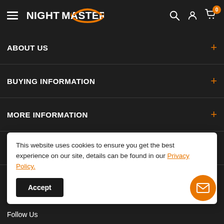Night Master - navigation header with hamburger menu, logo, search, account, and cart icons
ABOUT US
BUYING INFORMATION
MORE INFORMATION
CONTACT
This website uses cookies to ensure you get the best experience on our site, details can be found in our Privacy Policy.
Accept
Follow Us